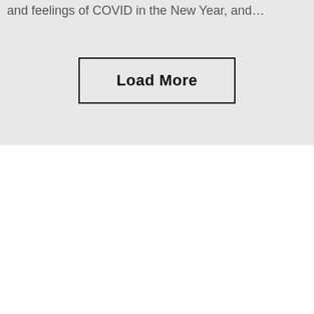and feelings of COVID in the New Year, and…
Load More